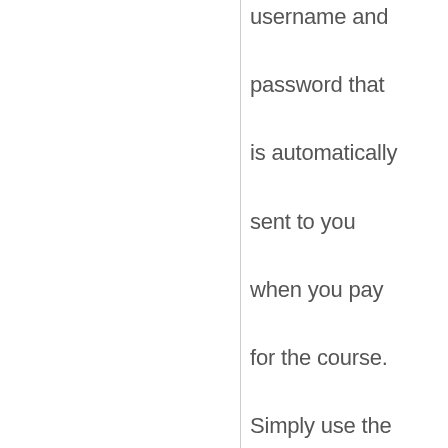username and password that is automatically sent to you when you pay for the course. Simply use the “login” button on the homepage. Once logged in, you'll receive access to all your purchased courses.